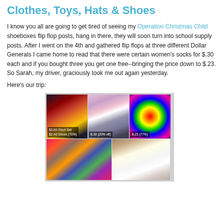Clothes, Toys, Hats & Shoes
I know you all are going to get tired of seeing my Operation Christmas Child shoeboxes flip flop posts, hang in there, they will soon turn into school supply posts. After I went on the 4th and gathered flip flops at three different Dollar Generals I came home to read that there were certain women's socks for $.30 each and if you bought three you get one free--bringing the price down to $.23. So Sarah, my driver, graciously took me out again yesterday.
Here's our trip:
[Figure (photo): Collage of children's items purchased: top row shows a Cars/Spongebob short set labeled $3.60 Short Set / $2.40 Shoes (70%), colorful socks and flip flops labeled $.30 (20% off), and rainbow hair accessories labeled $.23 (77%); bottom row shows stuffed animals, hats, and a doll.]